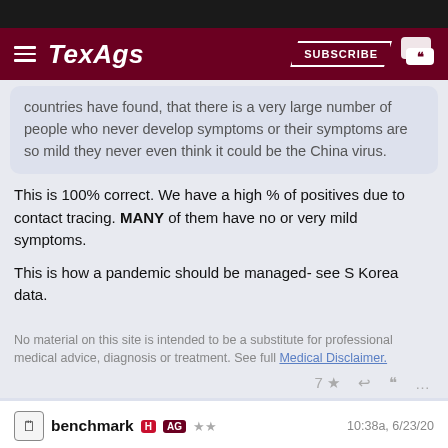TexAgs — SUBSCRIBE
countries have found, that there is a very large number of people who never develop symptoms or their symptoms are so mild they never even think it could be the China virus.
This is 100% correct. We have a high % of positives due to contact tracing. MANY of them have no or very mild symptoms.

This is how a pandemic should be managed- see S Korea data.
No material on this site is intended to be a substitute for professional medical advice, diagnosis or treatment. See full Medical Disclaimer.
7 ★  ↩  ❝  …
benchmark H AG ★★  10:38a, 6/23/20
↩ In reply to cavscout96
cavscout96 said:
agreed, although retail might be tough to nail down